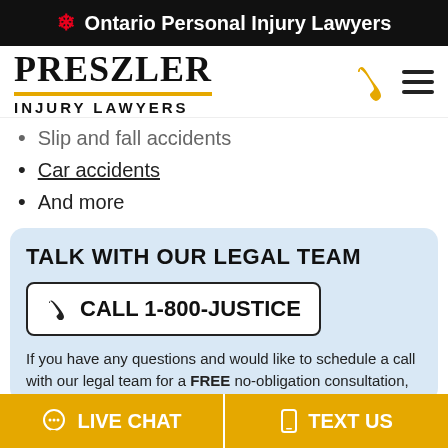🍁 Ontario Personal Injury Lawyers
[Figure (logo): Preszler Injury Lawyers logo with stylized text and gold underline, alongside phone and hamburger menu icons]
Slip and fall accidents
Car accidents
And more
TALK WITH OUR LEGAL TEAM
CALL 1-800-JUSTICE
If you have any questions and would like to schedule a call with our legal team for a FREE no-obligation consultation,
LIVE CHAT   TEXT US